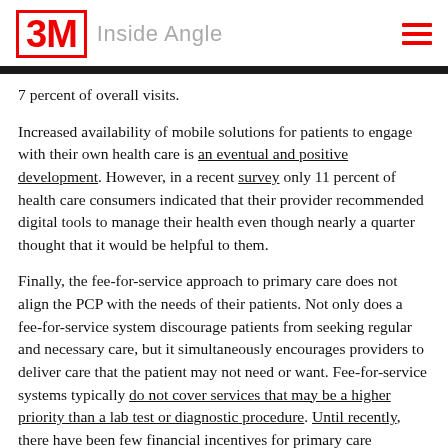3M Inside Angle
7 percent of overall visits.
Increased availability of mobile solutions for patients to engage with their own health care is an eventual and positive development. However, in a recent survey only 11 percent of health care consumers indicated that their provider recommended digital tools to manage their health even though nearly a quarter thought that it would be helpful to them.
Finally, the fee-for-service approach to primary care does not align the PCP with the needs of their patients. Not only does a fee-for-service system discourage patients from seeking regular and necessary care, but it simultaneously encourages providers to deliver care that the patient may not need or want. Fee-for-service systems typically do not cover services that may be a higher priority than a lab test or diagnostic procedure. Until recently, there have been few financial incentives for primary care physicians to address non-medical issues that impact health such as diet, exercise,